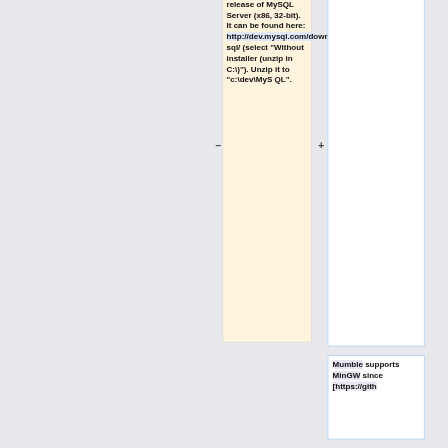release of MySQL Server (x86, 32-bit). It can be found here: http://dev.mysql.com/downloads/mysql/ (select "Without installer (unzip in C:\)"). Unzip it to "c:\dev\MySQL".
Mumble supports MinGW since [https://gith